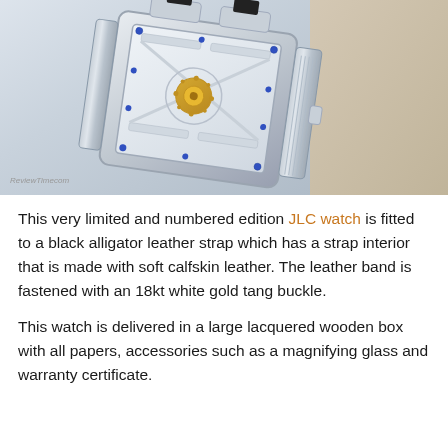[Figure (photo): Close-up photograph of a Jaeger-LeCoultre (JLC) skeleton watch with transparent dial showing mechanical movement, blue screws, gold tourbillon, on a light background. Watermark reads 'ReviewTimecom' in bottom left.]
This very limited and numbered edition JLC watch is fitted to a black alligator leather strap which has a strap interior that is made with soft calfskin leather. The leather band is fastened with an 18kt white gold tang buckle.
This watch is delivered in a large lacquered wooden box with all papers, accessories such as a magnifying glass and warranty certificate.